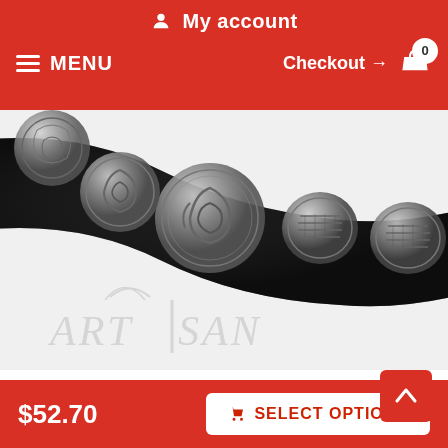My account
MENU  Checkout → 0
[Figure (photo): Close-up of a black leather belt or dog collar with decorative silver/pewter concho medallions featuring swirl and ribbed patterns, with partial ARTISAN watermark logo visible]
Corrosion resistant fittings on full grain genuin
$52.70  SELECT OPTIONS